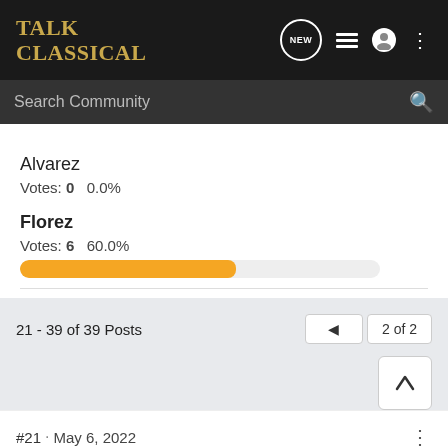TalkClassical — navigation header with search bar
Alvarez
Votes: 0   0.0%
Florez
Votes: 6   60.0%
Total voters: 10
21 - 39 of 39 Posts   2 of 2
ColdGenius · Registered
Joined Apr 14, 2022 · 244 Posts
#21 · May 6, 2022